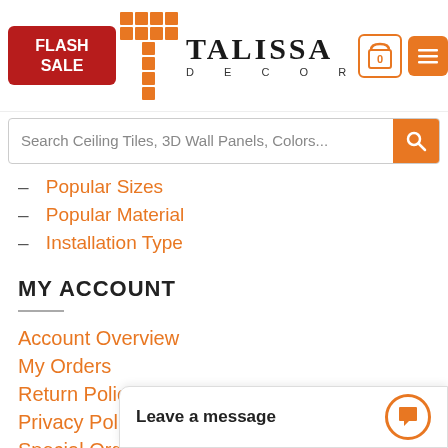[Figure (logo): Talissa Decor website header with Flash Sale button, tile T logo, brand name TALISSA DECOR, cart icon showing 0, and hamburger menu icon]
Search Ceiling Tiles, 3D Wall Panels, Colors...
– Popular Sizes
– Popular Material
– Installation Type
MY ACCOUNT
Account Overview
My Orders
Return Policy
Privacy Policy
Special Orders
Leave a message